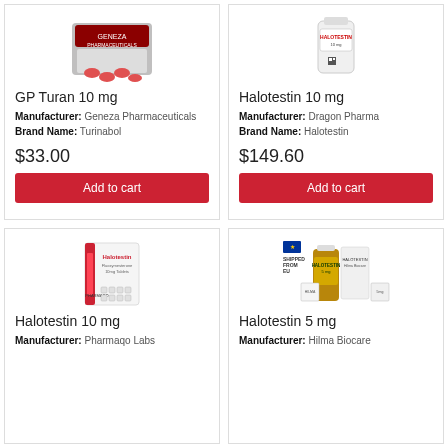[Figure (photo): GP Turan 10 mg product package - red and white blister pack]
GP Turan 10 mg
Manufacturer: Geneza Pharmaceuticals
Brand Name: Turinabol
$33.00
Add to cart
[Figure (photo): Halotestin 10 mg product bottle - white bottle with red label]
Halotestin 10 mg
Manufacturer: Dragon Pharma
Brand Name: Halotestin
$149.60
Add to cart
[Figure (photo): Halotestin 10 mg product - Pharmaqo Labs blister pack in white/red packaging]
Halotestin 10 mg
Manufacturer: Pharmaqo Labs
[Figure (photo): Halotestin 5 mg product - Hilma Biocare bottle and boxes with EU shipped badge]
Halotestin 5 mg
Manufacturer: Hilma Biocare